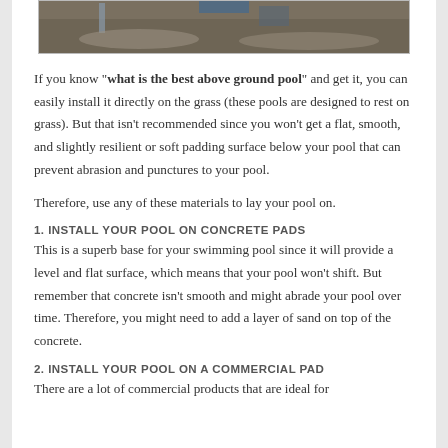[Figure (photo): Top portion of an outdoor photo showing excavated ground with blue material and dirt mounds, likely a pool installation site.]
If you know "what is the best above ground pool" and get it, you can easily install it directly on the grass (these pools are designed to rest on grass). But that isn't recommended since you won't get a flat, smooth, and slightly resilient or soft padding surface below your pool that can prevent abrasion and punctures to your pool.
Therefore, use any of these materials to lay your pool on.
1. INSTALL YOUR POOL ON CONCRETE PADS
This is a superb base for your swimming pool since it will provide a level and flat surface, which means that your pool won't shift. But remember that concrete isn't smooth and might abrade your pool over time. Therefore, you might need to add a layer of sand on top of the concrete.
2. INSTALL YOUR POOL ON A COMMERCIAL PAD
There are a lot of commercial products that are ideal for